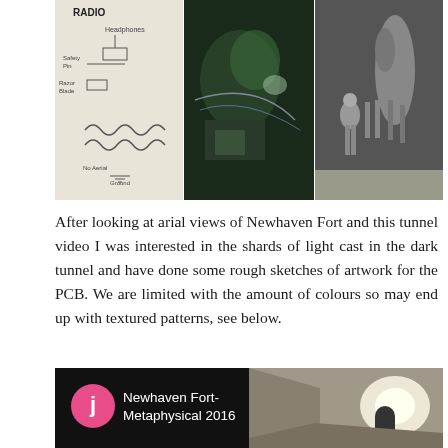[Figure (photo): Three-panel image: left panel shows a schematic/diagram labeled 'RADIO' with headphones, safety pin, razor blade, coil components and aerial; center panel shows a colorized/artistic photograph of equipment and machinery with green-tinted lighting; right panel shows a black and white photograph of a soldier standing next to a horse.]
After looking at arial views of Newhaven Fort and this tunnel video I was interested in the shards of light cast in the dark tunnel and have done some rough sketches of artwork for the PCB. We are limited with the amount of colours so may end up with textured patterns, see below.
[Figure (screenshot): Video thumbnail with black background. A pink circle with white letter 'j' on the left. Text 'Newhaven Fort- Metaphysical 2016' in white. Right half shows a photo of a tunnel corridor with bright light at the end and a dark arched doorway.]